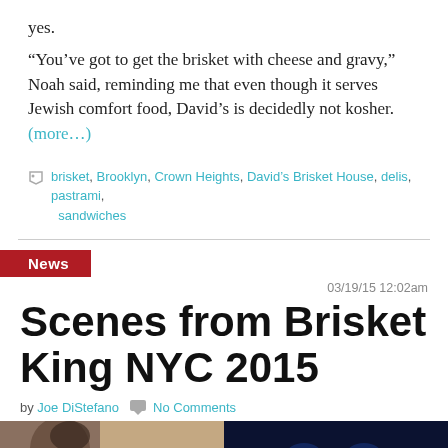yes.
“You’ve got to get the brisket with cheese and gravy,” Noah said, reminding me that even though it serves Jewish comfort food, David’s is decidedly not kosher. (more…)
brisket, Brooklyn, Crown Heights, David’s Brisket House, delis, pastrami, sandwiches
News
03/19/15 12:02am
Scenes from Brisket King NYC 2015
by Joe DiStefano  No Comments
[Figure (photo): Two side-by-side photos: left shows a person wearing a dark cap near a sign with red text starting with KIM..., right shows a dark image with glowing blue eyes or lights]